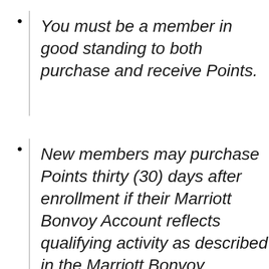You must be a member in good standing to both purchase and receive Points.
New members may purchase Points thirty (30) days after enrollment if their Marriott Bonvoy Account reflects qualifying activity as described in the Marriott Bonvoy Program